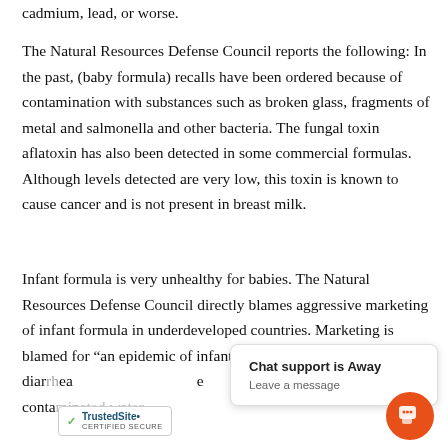cadmium, lead, or worse.
The Natural Resources Defense Council reports the following: In the past, (baby formula) recalls have been ordered because of contamination with substances such as broken glass, fragments of metal and salmonella and other bacteria. The fungal toxin aflatoxin has also been detected in some commercial formulas.  Although levels detected are very low, this toxin is known to cause cancer and is not present in breast milk.
Infant formula is very unhealthy for babies. The Natural Resources Defense Council directly blames aggressive marketing of infant formula in underdeveloped countries. Marketing is blamed for “an epidemic of infant death from malnutrition and diar[rhea in areas where contaminated water...]